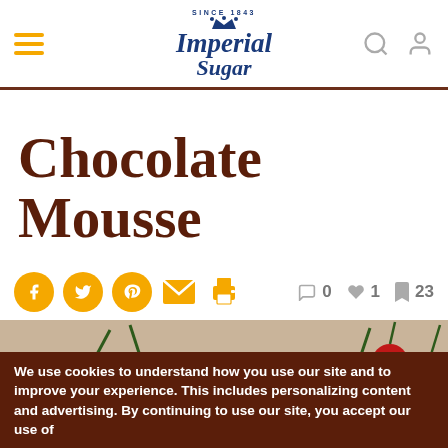Imperial Sugar - Since 1843
Chocolate Mousse
[Figure (screenshot): Social share buttons (Facebook, Twitter, Pinterest, Email, Print) and engagement stats showing 0 comments, 1 like, 23 saves]
[Figure (photo): Close-up photo of chocolate mousse in white ramekins topped with fresh red cherries and whipped cream]
We use cookies to understand how you use our site and to improve your experience. This includes personalizing content and advertising. By continuing to use our site, you accept our use of